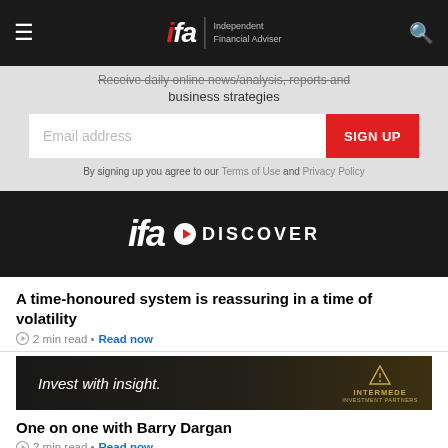ifa Independent Financial Adviser
Receive daily online news/analysis, reports and business strategies
Email address SIGN UP
By signing up you agree to our Terms of Use and Privacy Policy
[Figure (logo): IFA Discover logo on dark background]
A time-honoured system is reassuring in a time of volatility
2 min read • Read now
[Figure (photo): Invest with insight. Intermede advertisement banner]
One on one with Barry Dargan
2 min read • Read now